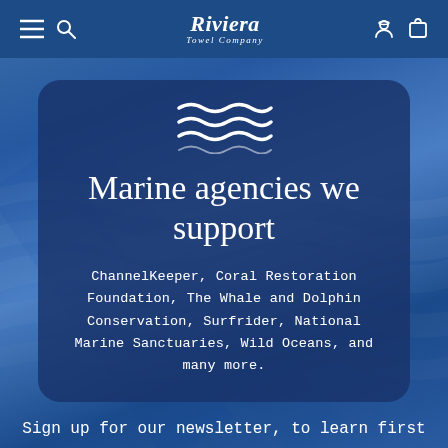Riviera Towel Company
[Figure (illustration): Wave/water icon with three wavy horizontal lines in white]
Marine agencies we support
ChannelKeeper, Coral Restoration Foundation, The Whale and Dolphin Conservation, Surfrider, National Marine Sanctuaries, Wild Oceans, and many more.
Sign up for our newsletter, to learn first